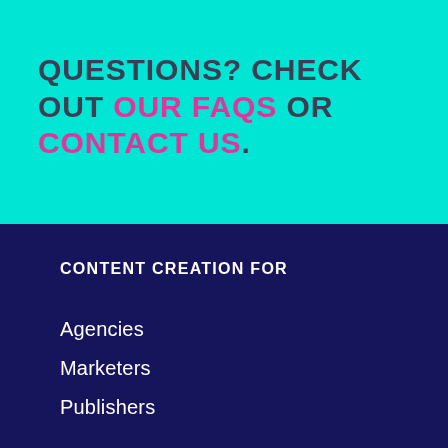QUESTIONS? CHECK OUT OUR FAQS OR CONTACT US.
CONTENT CREATION FOR
Agencies
Marketers
Publishers